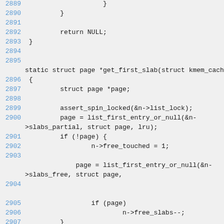Source code listing lines 2889-2908 showing C function get_first_slab
2889                    }
2890         }
2891
2892         return NULL;
2893 }
2894
2895
static struct page *get_first_slab(struct kmem_cache_no
2896 {
2897         struct page *page;
2898
2899         assert_spin_locked(&n->list_lock);
2900         page = list_first_entry_or_null(&n->slabs_partial, struct page, lru);
2901         if (!page) {
2902                 n->free_touched = 1;
2903
page = list_first_entry_or_null(&n->slabs_free, struct page,
2904
lru);
2905                 if (page)
2906                         n->free_slabs--;
2907         }
2908